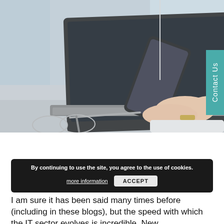[Figure (photo): A person using a smartphone while sitting in front of a laptop on a white desk, with a coffee cup and pen in the background. A teal 'Contact Us' vertical tab appears on the right side.]
By continuing to use the site, you agree to the use of cookies. more information   ACCEPT
I am sure it has been said many times before (including in these blogs), but the speed with which the IT sector evolves is incredible. New